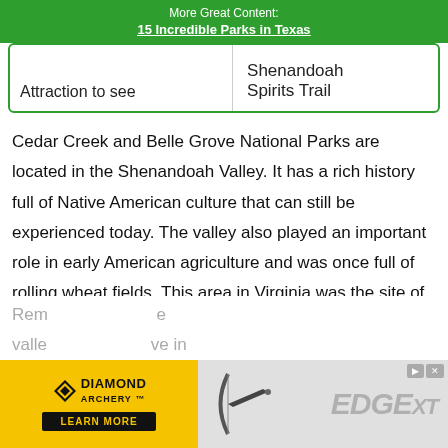More Great Content:
15 Incredible Parks in Texas
| Attraction to see | Shenandoah
Spirits Trail |
Cedar Creek and Belle Grove National Parks are located in the Shenandoah Valley. It has a rich history full of Native American culture that can still be experienced today. The valley also played an important role in early American agriculture and was once full of rolling wheat fields. This area in Virginia was the site of many significant Civil War events, such as the Battle of Cedar Creek.
Rem...e valle...ve in
[Figure (advertisement): Diamond Archery Edge XT advertisement banner with yellow background on left showing Diamond Archery logo and Learn More button, and grey background on right showing Edge XT text and archery bow image]